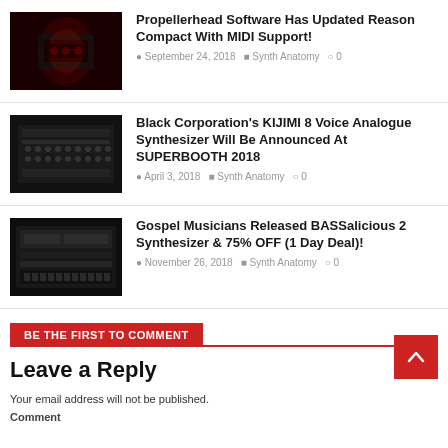[Figure (photo): Thumbnail image for Propellerhead Software article – dark red lit synthesizer/device]
Propellerhead Software Has Updated Reason Compact With MIDI Support!
September 24, 2018   Synth Anatomy   0
[Figure (photo): Thumbnail image for Black Corporation KIJIMI article – dark synthesizer with buttons]
Black Corporation's KIJIMI 8 Voice Analogue Synthesizer Will Be Announced At SUPERBOOTH 2018
April 3, 2018   Synth Anatomy   0
[Figure (photo): Thumbnail image for Gospel Musicians BASSalicious article – dark keyboard synthesizer]
Gospel Musicians Released BASSalicious 2 Synthesizer & 75% OFF (1 Day Deal)!
November 26, 2018   Synth Anatomy   0
BE THE FIRST TO COMMENT
Leave a Reply
Your email address will not be published.
Comment